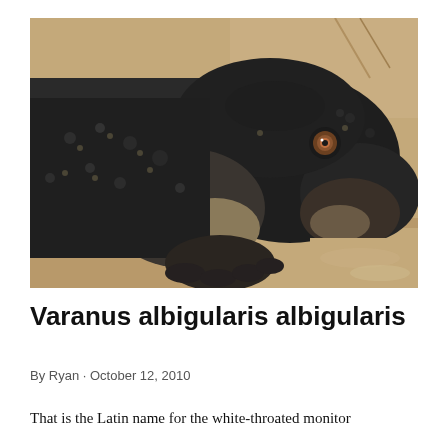[Figure (photo): Close-up photograph of a Varanus albigularis albigularis (white-throated monitor lizard) on sandy ground. The reptile faces right, showing detailed scaly skin in dark grey and tan patterns, an orange-brown eye, and clawed forefoot resting on sand.]
Varanus albigularis albigularis
By Ryan · October 12, 2010
That is the Latin name for the white-throated monitor